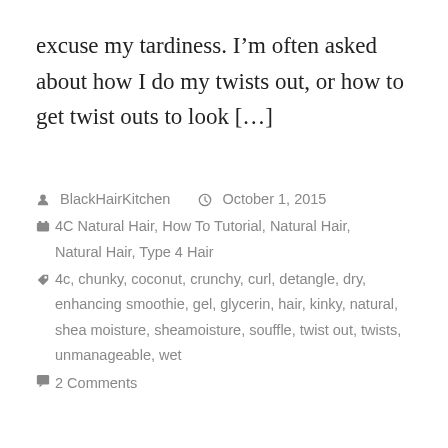excuse my tardiness. I’m often asked about how I do my twists out, or how to get twist outs to look […]
BlackHairKitchen   October 1, 2015   4C Natural Hair, How To Tutorial, Natural Hair, Natural Hair, Type 4 Hair   4c, chunky, coconut, crunchy, curl, detangle, dry, enhancing smoothie, gel, glycerin, hair, kinky, natural, shea moisture, sheamoisture, souffle, twist out, twists, unmanageable, wet   2 Comments